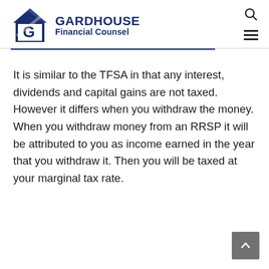GARDHOUSE Financial Counsel
It is similar to the TFSA in that any interest, dividends and capital gains are not taxed. However it differs when you withdraw the money. When you withdraw money from an RRSP it will be attributed to you as income earned in the year that you withdraw it. Then you will be taxed at your marginal tax rate.